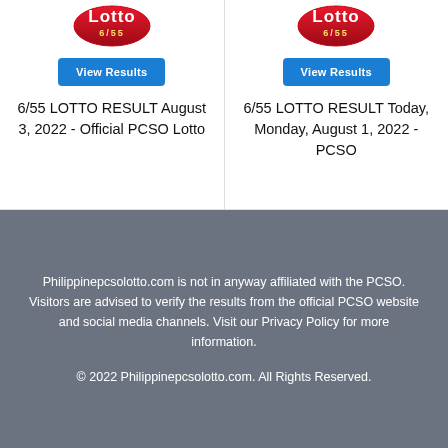[Figure (logo): Lotto 6/55 logo top-left card]
[Figure (logo): Lotto 6/55 logo top-right card]
6/55 LOTTO RESULT August 3, 2022 - Official PCSO Lotto
6/55 LOTTO RESULT Today, Monday, August 1, 2022 - PCSO
Philippinepcsolotto.com is not in anyway affiliated with the PCSO. Visitors are advised to verify the results from the official PCSO website and social media channels. Visit our Privacy Policy for more information.
© 2022 Philippinepcsolotto.com. All Rights Reserved.